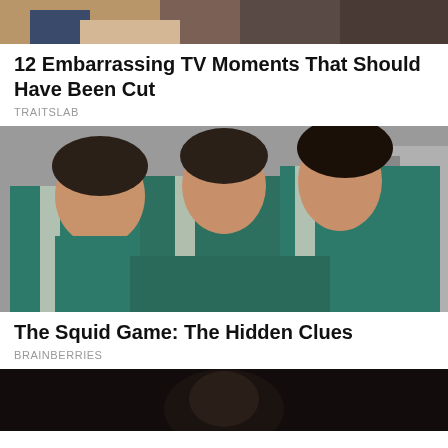[Figure (photo): Top partial image showing two people on a TV set, partially cropped at top]
12 Embarrassing TV Moments That Should Have Been Cut
TRAITSLAB
[Figure (photo): Three young women in teal/green tracksuits huddled together, from Squid Game]
The Squid Game: The Hidden Clues
BRAINBERRIES
[Figure (photo): Partial dark image at bottom, showing a person's face in low light, cropped]